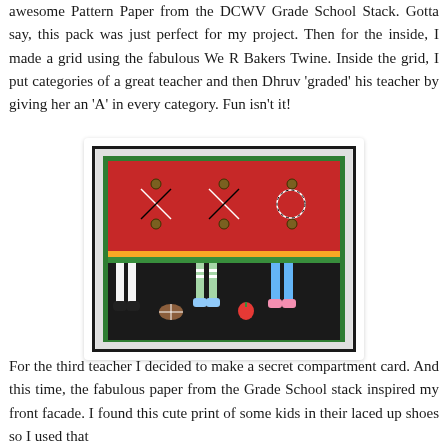awesome Pattern Paper from the DCWV Grade School Stack. Gotta say, this pack was just perfect for my project. Then for the inside, I made a grid using the fabulous We R Bakers Twine. Inside the grid, I put categories of a great teacher and then Dhruv 'graded' his teacher by giving her an 'A' in every category. Fun isn't it!
[Figure (photo): A handmade greeting card with a red top section featuring three criss-cross laced X patterns made with black and white baker's twine on eyelets/brads. The bottom section is black with illustrated children's legs and feet wearing various sneakers and shoes, with a football and apple visible.]
For the third teacher I decided to make a secret compartment card. And this time, the fabulous paper from the Grade School stack inspired my front facade. I found this cute print of some kids in their laced up shoes so I used that